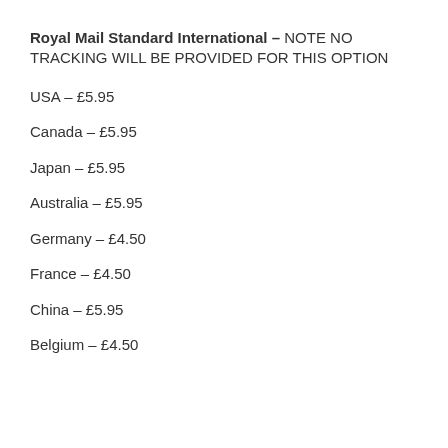Royal Mail Standard International – NOTE NO TRACKING WILL BE PROVIDED FOR THIS OPTION
USA – £5.95
Canada – £5.95
Japan – £5.95
Australia – £5.95
Germany – £4.50
France – £4.50
China – £5.95
Belgium – £4.50